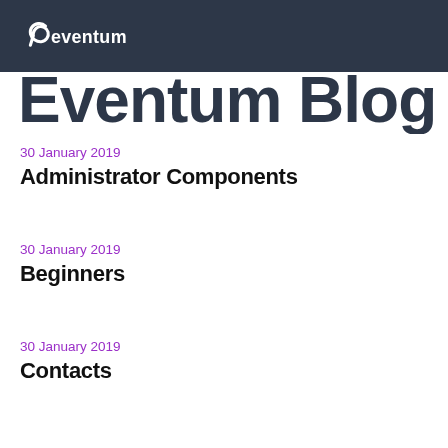eventum
Eventum Blog
30 January 2019
Administrator Components
30 January 2019
Beginners
30 January 2019
Contacts